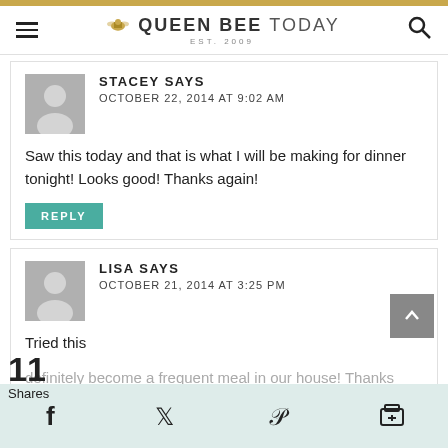QUEEN BEE TODAY EST. 2009
STACEY SAYS
OCTOBER 22, 2014 AT 9:02 AM
Saw this today and that is what I will be making for dinner tonight! Looks good! Thanks again!
REPLY
LISA SAYS
OCTOBER 21, 2014 AT 3:25 PM
Tried this
definitely become a frequent meal in our house! Thanks
11 Shares